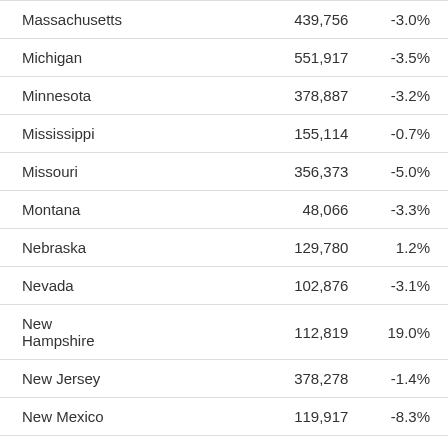| Massachusetts | 439,756 | -3.0% |
| Michigan | 551,917 | -3.5% |
| Minnesota | 378,887 | -3.2% |
| Mississippi | 155,114 | -0.7% |
| Missouri | 356,373 | -5.0% |
| Montana | 48,066 | -3.3% |
| Nebraska | 129,780 | 1.2% |
| Nevada | 102,876 | -3.1% |
| New Hampshire | 112,819 | 19.0% |
| New Jersey | 378,278 | -1.4% |
| New Mexico | 119,917 | -8.3% |
| New York | 1,110,273 | -1.2% |